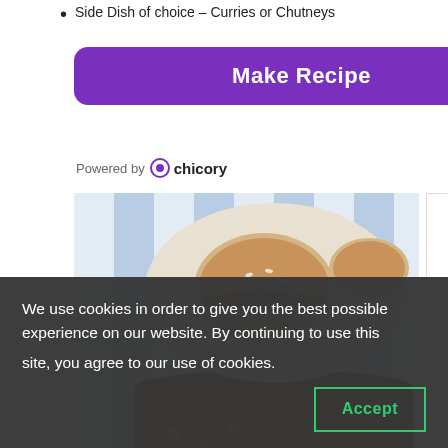Side Dish of choice – Curries or Chutneys
Make Recipe
Powered by chicory
[Figure (photo): Food photo showing burgers on a plate, baked beans in a dish, and a person holding a Bush's Best Sweet Heat can, on a blue and white striped cloth]
[Figure (advertisement): Bush's Best advertisement: logo, text 'ADD SOME SWEET TO YOUR SAVORY BURGERS', yellow 'SHOP NOW' button, Kroger logo]
INSTRUCTIONS
We use cookies in order to give you the best possible experience on our website. By continuing to use this site, you agree to our use of cookies.
Accept